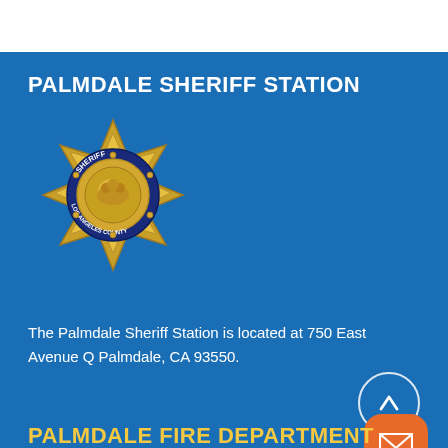PALMDALE SHERIFF STATION
[Figure (logo): Los Angeles County Sheriff gold star badge with blue ring, bear emblem in center]
The Palmdale Sheriff Station is located at 750 East Avenue Q Palmdale, CA 93550.
PALMDALE FIRE DEPARTMENT